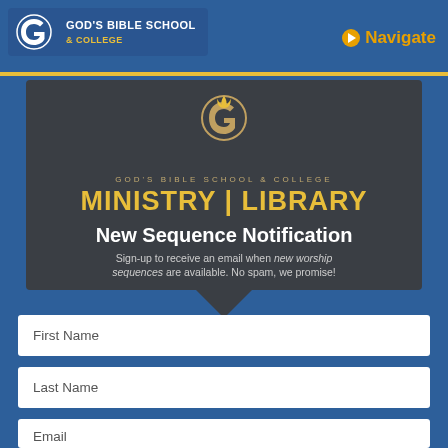[Figure (logo): God's Bible School & College logo with G icon and white text on blue background]
Navigate
[Figure (logo): God's Bible School & College Ministry Library logo on dark banner with torch icon]
New Sequence Notification
Sign-up to receive an email when new worship sequences are available. No spam, we promise!
First Name
Last Name
Email